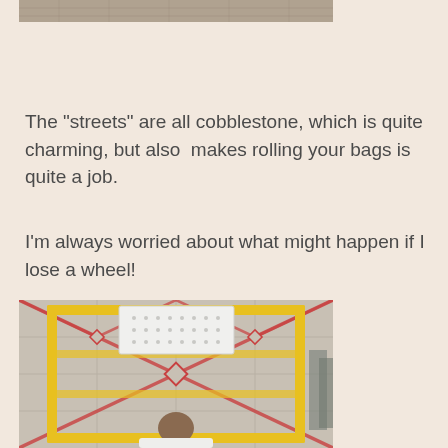[Figure (photo): Top portion of a photo showing cobblestone or stone surface, cropped at the top of the page]
The "streets" are all cobblestone, which is quite charming, but also  makes rolling your bags is quite a job.
I'm always worried about what might happen if I lose a wheel!
[Figure (photo): Aerial/overhead view of a person in white shirt working near yellow scaffolding or frame structure on a tiled floor with red cross/diamond pattern markings. A white crate or container is visible at the top of the frame.]